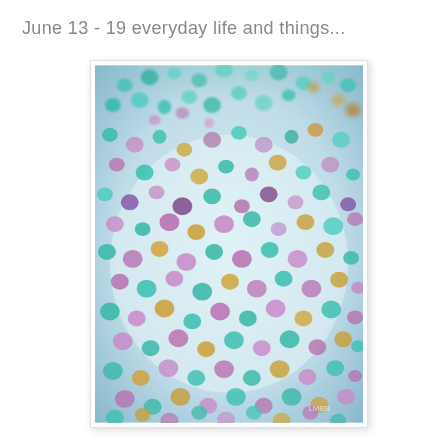June 13 - 19 everyday life and things...
[Figure (photo): Close-up macro photograph of colorful mixed glitter pieces scattered on a white/light surface. The glitter pieces are various shapes (hexagons, circles) in teal, turquoise, purple, pink, gold/amber, and green colors. The image is bokeh-style with sharp focus in the center and blurred edges.]